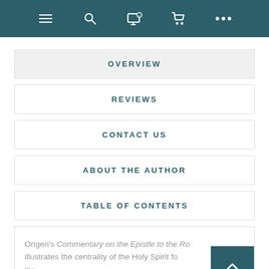Navigation bar with icons: menu, search, notifications, cart, more
OVERVIEW
REVIEWS
CONTACT US
ABOUT THE AUTHOR
TABLE OF CONTENTS
Origen's Commentary on the Epistle to the Ro[mans] illustrates the centrality of the Holy Spirit fo[r] the...